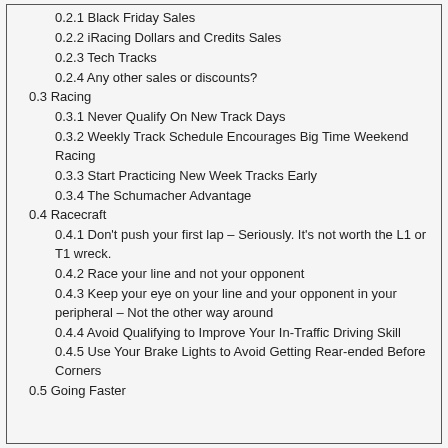0.2.1 Black Friday Sales
0.2.2 iRacing Dollars and Credits Sales
0.2.3 Tech Tracks
0.2.4 Any other sales or discounts?
0.3 Racing
0.3.1 Never Qualify On New Track Days
0.3.2 Weekly Track Schedule Encourages Big Time Weekend Racing
0.3.3 Start Practicing New Week Tracks Early
0.3.4 The Schumacher Advantage
0.4 Racecraft
0.4.1 Don't push your first lap – Seriously. It's not worth the L1 or T1 wreck.
0.4.2 Race your line and not your opponent
0.4.3 Keep your eye on your line and your opponent in your peripheral – Not the other way around
0.4.4 Avoid Qualifying to Improve Your In-Traffic Driving Skill
0.4.5 Use Your Brake Lights to Avoid Getting Rear-ended Before Corners
0.5 Going Faster